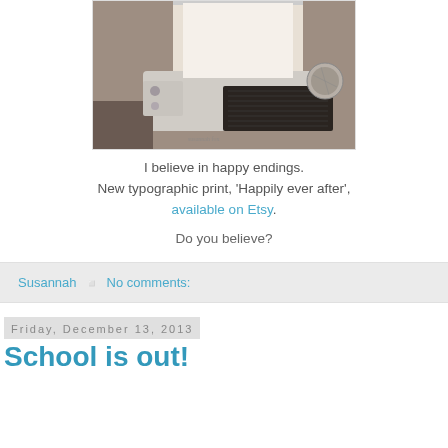[Figure (photo): Close-up sepia-toned photo of a vintage typewriter with paper loaded, showing keys and mechanical parts]
I believe in happy endings.
New typographic print, 'Happily ever after',
available on Etsy.
Do you believe?
Susannah   No comments:
Friday, December 13, 2013
School is out!